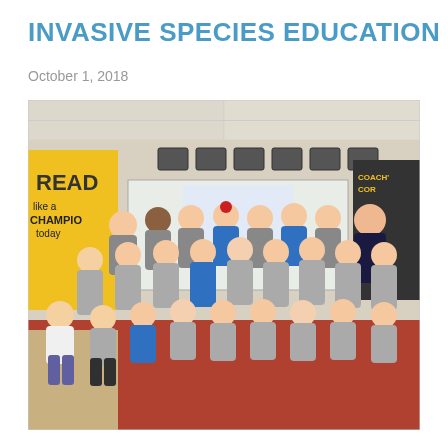INVASIVE SPECIES EDUCATION
October 1, 2018
[Figure (photo): A group of elementary school children and a teacher posing in a classroom, most wearing matching gray and blue t-shirts, flexing their arms and smiling. The classroom has a yellow 'READ Like a CHAMPION today' bulletin board on the left and a whiteboard at the back.]